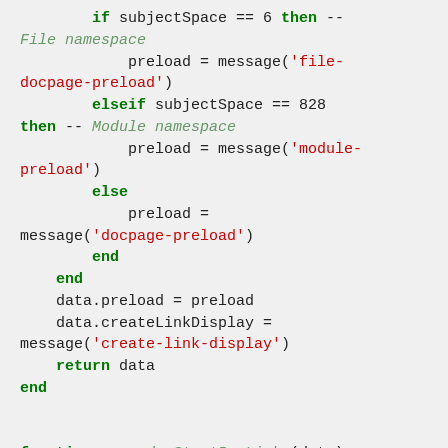[Figure (screenshot): Code snippet showing Lua/scripting code with syntax highlighting. Keywords in bold green, string literals in red, comments in italic green, plain code in dark/black. Shows conditional logic checking subjectSpace values (6 and 828) to set preload messages, then sets data.preload and data.createLinkDisplay, returns data, ends function, then starts function p.renderStartBoxLinks(data) with --[[ comment.]